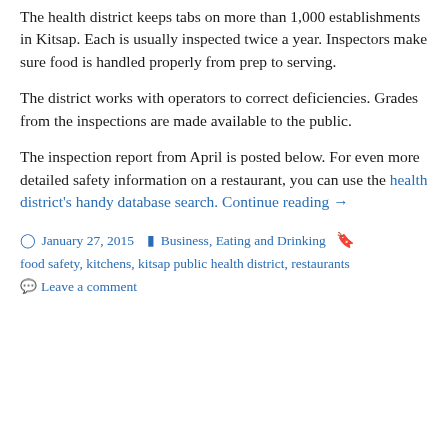The health district keeps tabs on more than 1,000 establishments in Kitsap. Each is usually inspected twice a year. Inspectors make sure food is handled properly from prep to serving.
The district works with operators to correct deficiencies. Grades from the inspections are made available to the public.
The inspection report from April is posted below. For even more detailed safety information on a restaurant, you can use the health district's handy database search. Continue reading →
January 27, 2015   Business, Eating and Drinking   food safety, kitchens, kitsap public health district, restaurants
Leave a comment